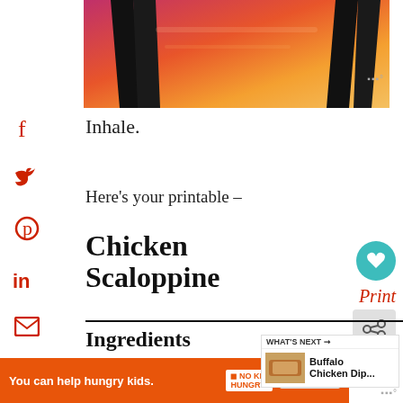[Figure (photo): Silhouette of a person's legs against a vibrant pink and orange sunset sky]
Inhale.
Here's your printable –
Chicken Scaloppine
Ingredients
[Figure (other): Ad banner: You can help hungry kids. No Kid Hungry. LEARN HOW]